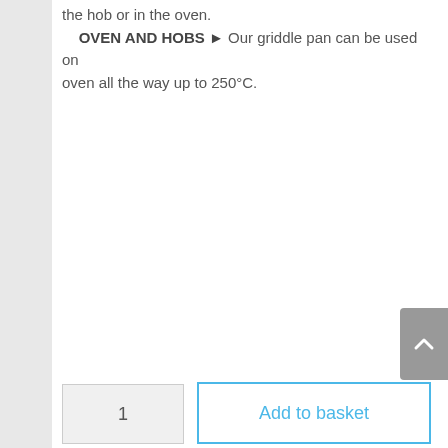the hob or in the oven. OVEN AND HOBS ► Our griddle pan can be used on oven all the way up to 250°C.
1
Add to basket